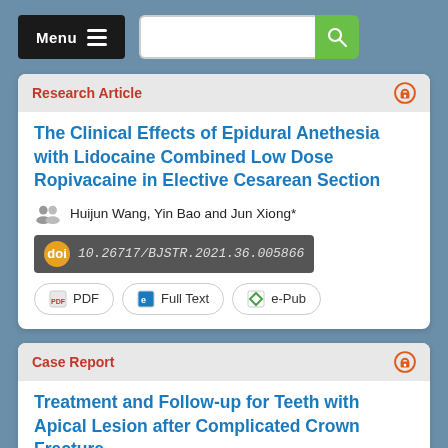Menu [search bar]
Research Article
The Clinical Effects of Epidural Anethesia with Lidocaine Combined Low Dose Ropivacaine in Elective Cesarean Section
Huijun Wang, Yin Bao and Jun Xiong*
doi 10.26717/BJSTR.2021.36.005866
PDF  Full Text  e-Pub
Case Report
Treatment and Follow-up for Teeth with Apical Lesion after Complicated Crown Fracture
Bilge Ozcan* and Bade Sonat